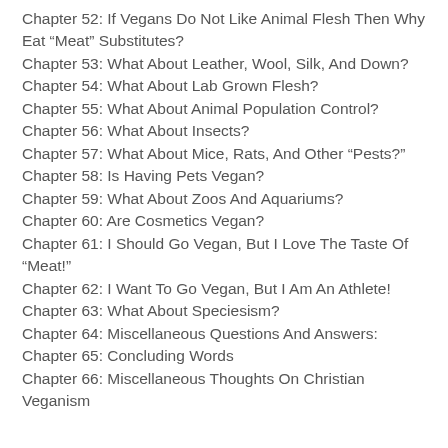Chapter 52: If Vegans Do Not Like Animal Flesh Then Why Eat "Meat" Substitutes?
Chapter 53: What About Leather, Wool, Silk, And Down?
Chapter 54: What About Lab Grown Flesh?
Chapter 55: What About Animal Population Control?
Chapter 56: What About Insects?
Chapter 57: What About Mice, Rats, And Other "Pests?"
Chapter 58: Is Having Pets Vegan?
Chapter 59: What About Zoos And Aquariums?
Chapter 60: Are Cosmetics Vegan?
Chapter 61: I Should Go Vegan, But I Love The Taste Of "Meat!"
Chapter 62: I Want To Go Vegan, But I Am An Athlete!
Chapter 63: What About Speciesism?
Chapter 64: Miscellaneous Questions And Answers:
Chapter 65: Concluding Words
Chapter 66: Miscellaneous Thoughts On Christian Veganism